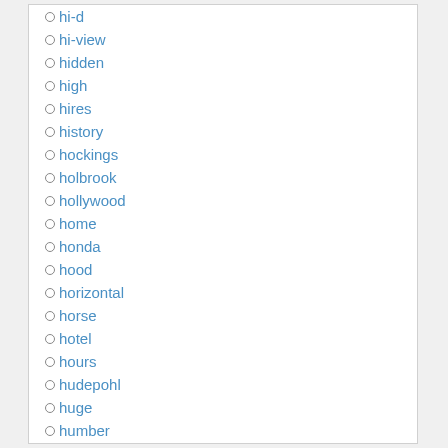hi-d
hi-view
hidden
high
hires
history
hockings
holbrook
hollywood
home
honda
hood
horizontal
horse
hotel
hours
hudepohl
huge
humber
iconic